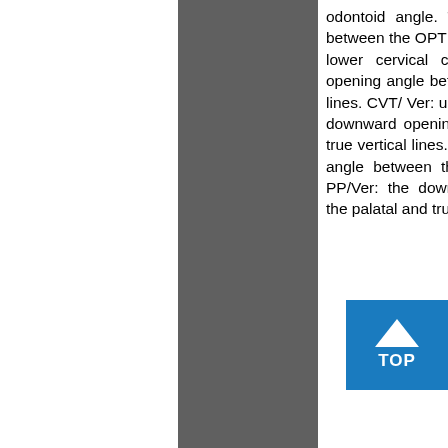odontoid angle. The downward opening angle between the OPT and true vertical lines. EVT/Ver: lower cervical column angle. The downward opening angle between the EVT and true vertical lines. CVT/ Ver: upper cervical column angle. The downward opening angle between the CVT and true vertical lines. SN/Ver: the downward opening angle between the SN and true vertical lines. PP/Ver: the downward opening angle between the palatal and true vertical lines. MP/Ver: the